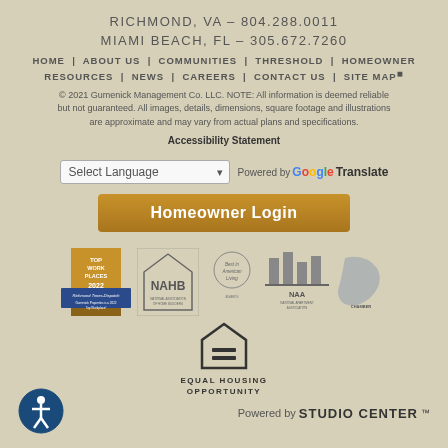RICHMOND, VA - 804.288.0011
MIAMI BEACH, FL - 305.672.7260
HOME | ABOUT US | COMMUNITIES | THRESHOLD | HOMEOWNER RESOURCES | NEWS | CAREERS | CONTACT US | SITE MAP
© 2021 Gumenick Management Co. LLC. NOTE: All information is deemed reliable but not guaranteed. All images, details, dimensions, square footage and illustrations are approximate and may vary from actual plans and specifications.
Accessibility Statement
[Figure (screenshot): Language selector dropdown with 'Select Language' and Google Translate branding with a Homeowner Login button]
[Figure (logo): Row of logos: Top Work Places 2022 (Richmond Times-Dispatch), NAHB National Association of Home Builders, Best in American Living, NAA National Apartment Association, Greater Richmond Chamber]
[Figure (logo): Equal Housing Opportunity logo with house and equals sign icon, and text EQUAL HOUSING OPPORTUNITY]
Powered by STUDIO CENTER